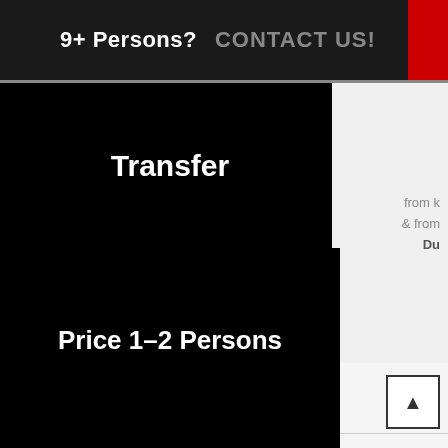9+ Persons?  CONTACT US!
Transfer
from k & from Du
Price 1-2 Persons
Price 3-4 Persons